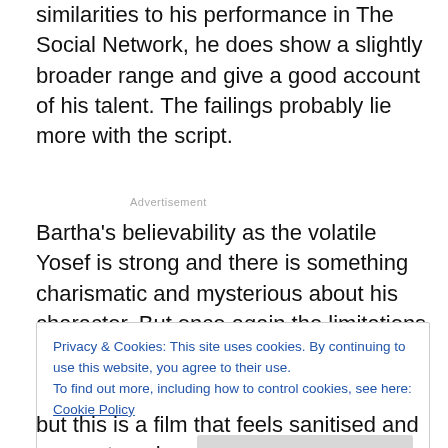similarities to his performance in The Social Network, he does show a slightly broader range and give a good account of his talent. The failings probably lie more with the script.
Advertisement
Bartha's believability as the volatile Yosef is strong and there is something charismatic and mysterious about his character. But once again the limitations of the true story
Privacy & Cookies: This site uses cookies. By continuing to use this website, you agree to their use.
To find out more, including how to control cookies, see here: Cookie Policy
Close and accept
but this is a film that feels sanitised and seems to only